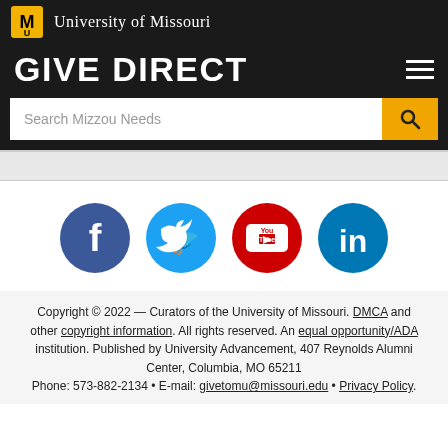University of Missouri
GIVE DIRECT
[Figure (screenshot): Search bar with placeholder text 'Search Mizzou Needs' and a gold search button with magnifying glass icon]
[Figure (infographic): Four social media icons: Facebook (dark blue circle with 'f'), Twitter (light blue circle with bird icon), YouTube (red circle with 'You Tube' play button), LinkedIn (dark blue circle with 'in')]
Copyright © 2022 — Curators of the University of Missouri. DMCA and other copyright information. All rights reserved. An equal opportunity/ADA institution. Published by University Advancement, 407 Reynolds Alumni Center, Columbia, MO 65211 Phone: 573-882-2134 • E-mail: givetomu@missouri.edu • Privacy Policy.